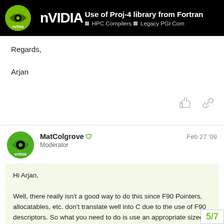NVIDIA — Use of Proj-4 library from Fortran — HPC Compilers — Legacy PGI Com
Regards,
Arjan
MatColgrove Moderator — Feb 27 '09
Hi Arjan,

Well, there really isn't a good way to do this since F90 Pointers, allocatables, etc. don't translate well into C due to the use of F90 descriptors. So what you need to do is use an appropriate sized integer (integer in 32-bit, integer*8 in 64-bit) to hold the address of the C pointer and then use Cray pointers address to the correct data type. Som